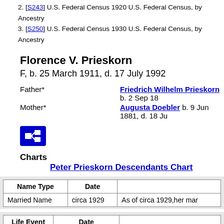2. [S243] U.S. Federal Census 1920 U.S. Federal Census, by Ancestry
3. [S250] U.S. Federal Census 1930 U.S. Federal Census, by Ancestry
Florence V. Prieskorn
F, b. 25 March 1911, d. 17 July 1992
| Name Type | Date |  |
| --- | --- | --- |
| Married Name | circa 1929 | As of circa 1929,her mar |
| Life Event | Date |  |
| --- | --- | --- |
| Birth | 25 March 1911 | Florence V. Prieskorn w She was the daughter of |
| Marriage | circa 1929 | Florence V. Prieskorn m |